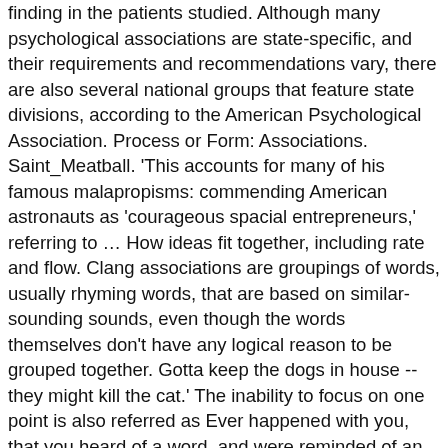finding in the patients studied. Although many psychological associations are state-specific, and their requirements and recommendations vary, there are also several national groups that feature state divisions, according to the American Psychological Association. Process or Form: Associations. Saint_Meatball. 'This accounts for many of his famous malapropisms: commending American astronauts as 'courageous spacial entrepreneurs,' referring to … How ideas fit together, including rate and flow. Clang associations are groupings of words, usually rhyming words, that are based on similar-sounding sounds, even though the words themselves don't have any logical reason to be grouped together. Gotta keep the dogs in house -- they might kill the cat.' The inability to focus on one point is also referred as Ever happened with you, that you heard of a word, and were reminded of an incident related to it? •Process or form of thought can be logical and coherent or completely illogical and even incomprehensible. Previous page. Only 1 left in stock - order soon. President George W. Bush's Clang Associations '[George] Bush's spontaneous public statements also